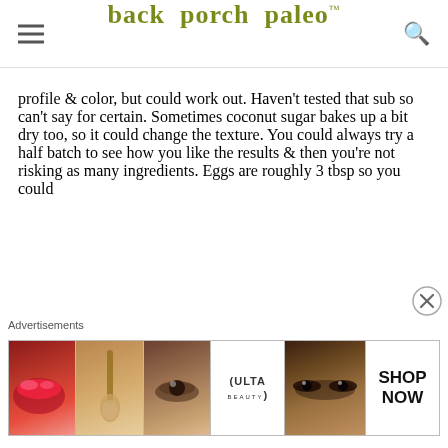back porch paleo™
profile & color, but could work out. Haven't tested that sub so can't say for certain. Sometimes coconut sugar bakes up a bit dry too, so it could change the texture. You could always try a half batch to see how you like the results & then you're not risking as many ingredients. Eggs are roughly 3 tbsp so you could
Advertisements
[Figure (photo): Ulta Beauty advertisement banner showing makeup/cosmetics imagery with lips, brushes, eyes, Ulta logo, and SHOP NOW call to action]